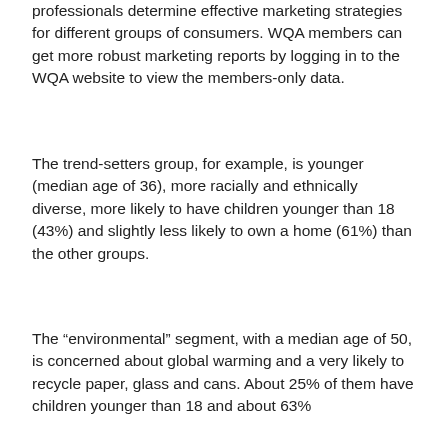professionals determine effective marketing strategies for different groups of consumers. WQA members can get more robust marketing reports by logging in to the WQA website to view the members-only data.
The trend-setters group, for example, is younger (median age of 36), more racially and ethnically diverse, more likely to have children younger than 18 (43%) and slightly less likely to own a home (61%) than the other groups.
The “environmental” segment, with a median age of 50, is concerned about global warming and a very likely to recycle paper, glass and cans. About 25% of them have children younger than 18 and about 63%